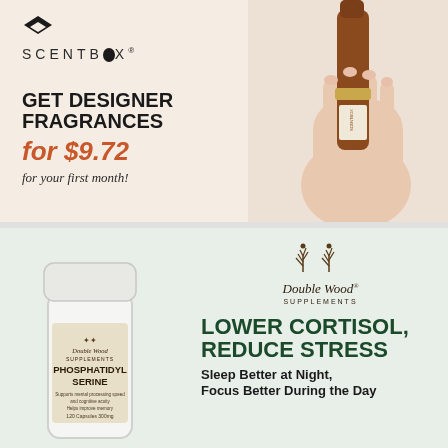[Figure (photo): ScentBox advertisement showing a hand holding a bronze perfume travel spray bottle. Logo with black cube icon and SCENTBOX wordmark at top left. Text reads: GET DESIGNER FRAGRANCES for $9.72 for your first month!]
[Figure (photo): Double Wood Supplements advertisement showing a white pill bottle labeled Phosphatidyl Serine. Double Wood logo with tree icon at top right. Text reads: LOWER CORTISOL, REDUCE STRESS. Sleep Better at Night, Focus Better During the Day.]